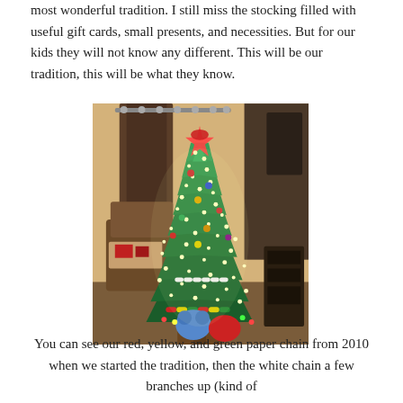most wonderful tradition. I still miss the stocking filled with useful gift cards, small presents, and necessities. But for our kids they will not know any different. This will be our tradition, this will be what they know.
[Figure (photo): A decorated Christmas tree with bright white lights, colorful ornaments including a red, yellow, and green paper chain at the base, blue and red stuffed animals or decorations at the base, in a living room with brown curtains and furniture.]
You can see our red, yellow, and green paper chain from 2010 when we started the tradition, then the white chain a few branches up (kind of